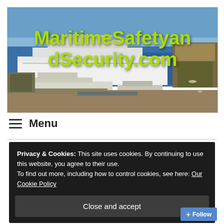[Figure (photo): Aerial or elevated view of a harbor with a large white cruise ship docked, smaller yachts moored in foreground, blue sea, and a dock/pier structure. The site title 'MaritimeSafetyandSecurity.com' is overlaid in lime green bold text.]
MaritimeSafetyandSecurity.com
≡ Menu
Privacy & Cookies: This site uses cookies. By continuing to use this website, you agree to their use.
To find out more, including how to control cookies, see here: Our Cookie Policy
Close and accept